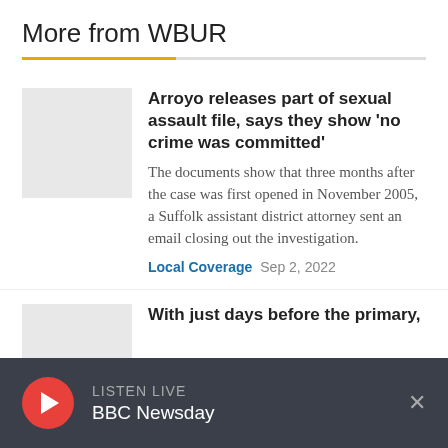More from WBUR
Arroyo releases part of sexual assault file, says they show 'no crime was committed'
The documents show that three months after the case was first opened in November 2005, a Suffolk assistant district attorney sent an email closing out the investigation.
Local Coverage  Sep 2, 2022
With just days before the primary,
LISTEN LIVE  BBC Newsday